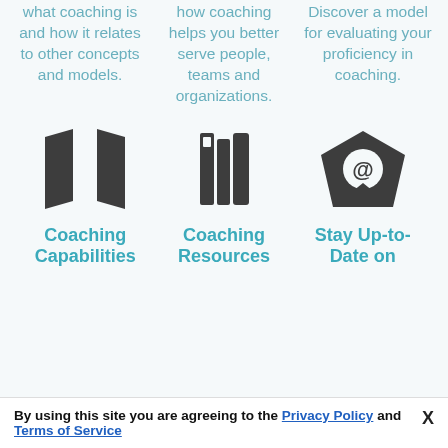what coaching is and how it relates to other concepts and models.
how coaching helps you better serve people, teams and organizations.
Discover a model for evaluating your proficiency in coaching.
[Figure (illustration): Map icon (dark gray)]
[Figure (illustration): Books/binder icon (dark gray)]
[Figure (illustration): Email/envelope with @ symbol icon (dark gray)]
Coaching Capabilities
Coaching Resources
Stay Up-to-Date on
By using this site you are agreeing to the Privacy Policy and Terms of Service